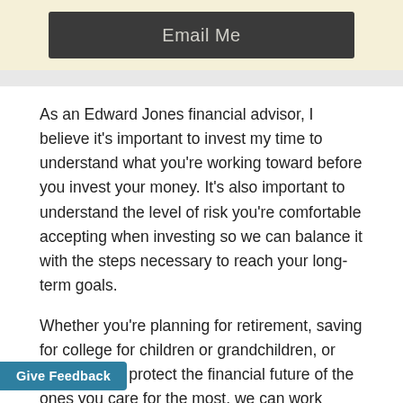[Figure (other): Dark gray button labeled 'Email Me' on a light yellow/cream background banner]
As an Edward Jones financial advisor, I believe it's important to invest my time to understand what you're working toward before you invest your money. It's also important to understand the level of risk you're comfortable accepting when investing so we can balance it with the steps necessary to reach your long-term goals.
Whether you're planning for retirement, saving for college for children or grandchildren, or just trying to protect the financial future of the ones you care for the most, we can work together to develop specific strategies to help you achieve your goals. We can also monitor your progress to help make sure you stay on